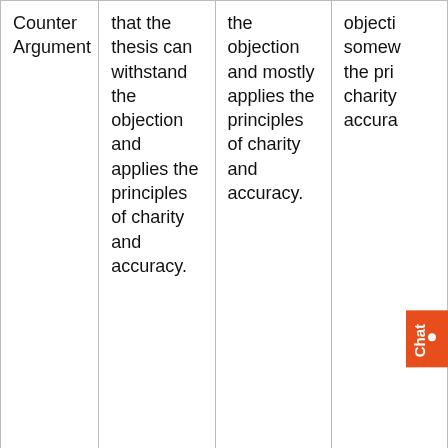| Counter Argument | that the thesis can withstand the objection and applies the principles of charity and accuracy. | the objection and mostly applies the principles of charity and accuracy. | objecti somew the pri charity accura |
|  | – Provides clear and concise closing remarks that comprehensively summarize the essay. The | Provides closing remarks that summarize the essay. The remarks mostly consider the | Provid remar minima summa essay. minima |